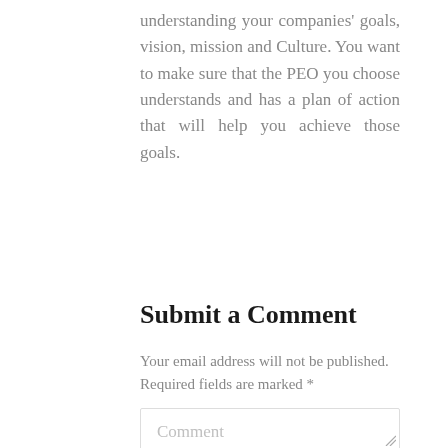understanding your companies' goals, vision, mission and Culture. You want to make sure that the PEO you choose understands and has a plan of action that will help you achieve those goals.
Submit a Comment
Your email address will not be published. Required fields are marked *
Comment